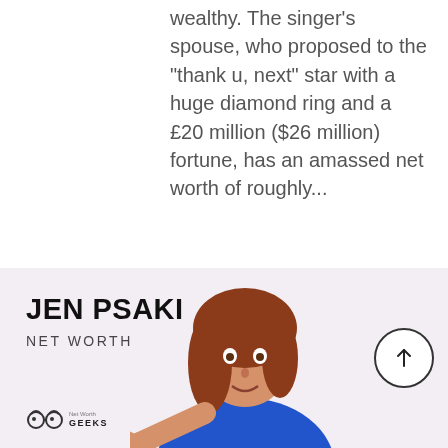wealthy. The singer's spouse, who proposed to the "thank u, next" star with a huge diamond ring and a £20 million ($26 million) fortune, has an amassed net worth of roughly...
READ MORE
[Figure (infographic): Net Worth Geeks card featuring Jen Psaki with bold text 'JEN PSAKI NET WORTH', a photo illustration of Jen Psaki in a blue top pointing, the Net Worth Geeks logo, and a circular scroll-up button.]